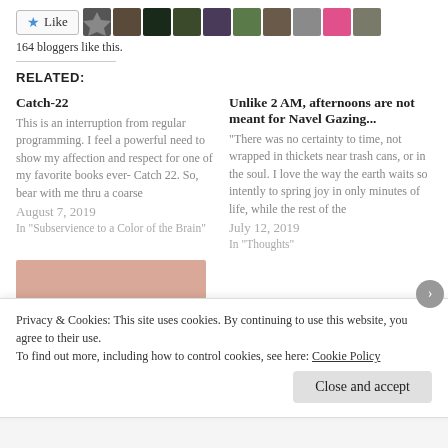[Figure (other): Like button with star icon and row of blogger avatar photos]
164 bloggers like this.
RELATED:
Catch-22
This is an interruption from regular programming. I feel a powerful need to show my affection and respect for one of my favorite books ever- Catch 22. So, bear with me thru a coarse
August 7, 2019
In "Subservience to a Color of the Brain"
Unlike 2 AM, afternoons are not meant for Navel Gazing...
“There was no certainty to time, not wrapped in thickets near trash cans, or in the soul. I love the way the earth waits so intently to spring joy in only minutes of life, while the rest of the
July 12, 2019
In "Thoughts"
[Figure (photo): Thumbnail image in peach/salmon color]
Privacy & Cookies: This site uses cookies. By continuing to use this website, you agree to their use.
To find out more, including how to control cookies, see here: Cookie Policy
Close and accept